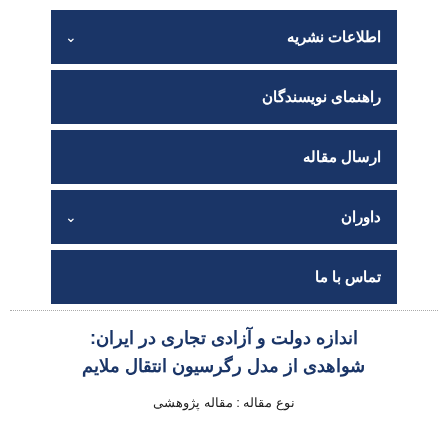اطلاعات نشریه
راهنمای نویسندگان
ارسال مقاله
داوران
تماس با ما
اندازه دولت و آزادی تجاری در ایران: شواهدی از مدل رگرسیون انتقال ملایم
نوع مقاله : مقاله پژوهشی